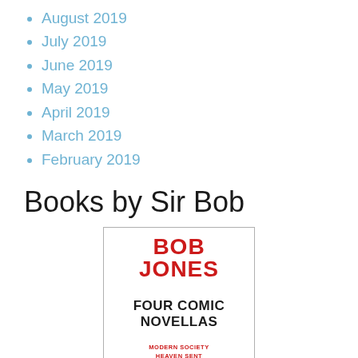August 2019
July 2019
June 2019
May 2019
April 2019
March 2019
February 2019
Books by Sir Bob
[Figure (illustration): Book cover for 'Bob Jones: Four Comic Novellas' showing bold red title 'BOB JONES', subtitle 'FOUR COMIC NOVELLAS', and four novella titles: Modern Society, Heaven Sent, The Last Judgement, Rise and Reward]
SIR BOB'S LATEST BOOK